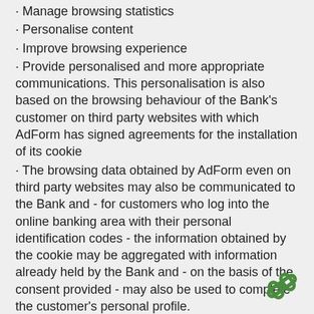Manage browsing statistics
Personalise content
Improve browsing experience
Provide personalised and more appropriate communications. This personalisation is also based on the browsing behaviour of the Bank’s customer on third party websites with which AdForm has signed agreements for the installation of its cookie
The browsing data obtained by AdForm even on third party websites may also be communicated to the Bank and - for customers who log into the online banking area with their personal identification codes - the information obtained by the cookie may be aggregated with information already held by the Bank and - on the basis of the consent provided - may also be used to complete the customer’s personal profile.